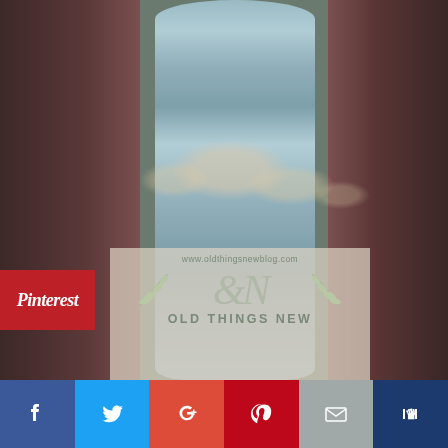[Figure (photo): Close-up photo of a distressed painted furniture leg/base in chalky pale blue-grey paint with decorative oval carved details, set against a dark reddish-brown background. An 'Old Things New' blog watermark is overlaid in the lower left area of the photo.]
[Figure (logo): Pinterest button overlay on left side of image, red rectangle with 'Pinterest' text in white italic.]
[Figure (infographic): Social sharing bar at bottom with icons for Facebook (blue), Twitter (light blue), Google+ (red), Pinterest (dark red), Email (grey), and Bloglovin (dark blue).]